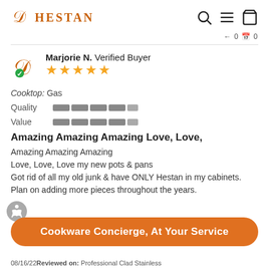HESTAN
Marjorie N. Verified Buyer
Cooktop: Gas
Quality [rating bar]
Value [rating bar]
Amazing Amazing Amazing Love, Love,
Amazing Amazing Amazing Love, Love, Love my new pots & pans Got rid of all my old junk & have ONLY Hestan in my cabinets. Plan on adding more pieces throughout the years.
Cookware Concierge, At Your Service
08/16/22 Reviewed on: Professional Clad Stainless